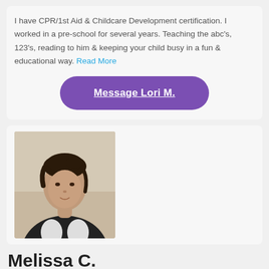I have CPR/1st Aid & Childcare Development certification. I worked in a pre-school for several years. Teaching the abc's, 123's, reading to him & keeping your child busy in a fun & educational way. Read More
Message Lori M.
[Figure (photo): Profile photo of a young woman with dark hair pulled back, wearing a black sweatshirt with a white graphic, seated indoors]
Melissa C.